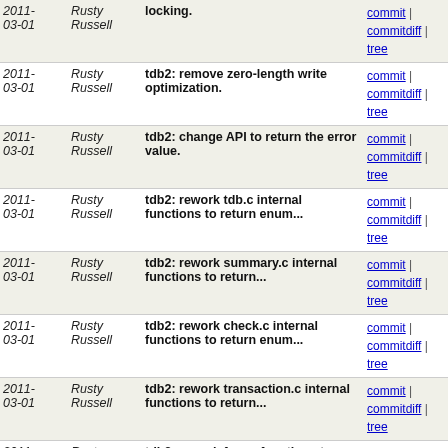| Date | Author | Message | Links |
| --- | --- | --- | --- |
| 2011-03-01 | Rusty Russell | locking. | commit | commitdiff | tree |
| 2011-03-01 | Rusty Russell | tdb2: remove zero-length write optimization. | commit | commitdiff | tree |
| 2011-03-01 | Rusty Russell | tdb2: change API to return the error value. | commit | commitdiff | tree |
| 2011-03-01 | Rusty Russell | tdb2: rework tdb.c internal functions to return enum... | commit | commitdiff | tree |
| 2011-03-01 | Rusty Russell | tdb2: rework summary.c internal functions to return... | commit | commitdiff | tree |
| 2011-03-01 | Rusty Russell | tdb2: rework check.c internal functions to return enum... | commit | commitdiff | tree |
| 2011-03-01 | Rusty Russell | tdb2: rework transaction.c internal functions to return... | commit | commitdiff | tree |
| 2011-03-01 | Rusty Russell | tdb2: rework free.c functions to return enum TDB_ERROR. | commit | commitdiff | tree |
| 2011-03-01 | Rusty Russell | tdb2: rework hash.c functions to return enum TDB_ERROR. | commit | commitdiff | tree |
| 2011-03-01 | Rusty Russell | tdb2: rework remaining io.c functions to return enum... | commit | commitdiff | tree |
| 2011-03-01 | Rusty Russell | tdb2: rework some io.c functions to encode errors in... | commit | commitdiff | tree |
| 2011-03-01 | Rusty Russell | tdb2: rework some io.c functions to return enum TDB_ERROR. | commit | commitdiff | tree |
| 2011-03-01 | Rusty Russell | tdb2: rework io functions to return enum TDB_ERROR. | commit | commitdiff | tree |
| 2011-03-01 | Rusty Russell | tdb2: restore file filling code. | commit | commitdiff | tree |